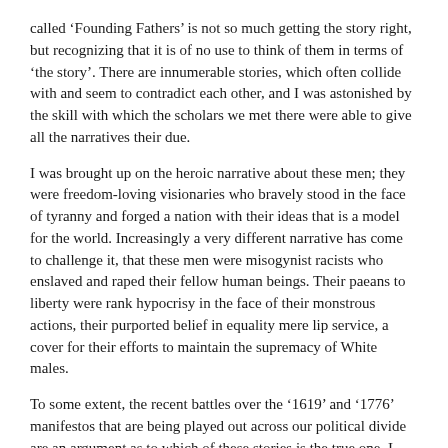called ‘Founding Fathers’ is not so much getting the story right, but recognizing that it is of no use to think of them in terms of ‘the story’. There are innumerable stories, which often collide with and seem to contradict each other, and I was astonished by the skill with which the scholars we met there were able to give all the narratives their due.
I was brought up on the heroic narrative about these men; they were freedom-loving visionaries who bravely stood in the face of tyranny and forged a nation with their ideas that is a model for the world. Increasingly a very different narrative has come to challenge it, that these men were misogynist racists who enslaved and raped their fellow human beings. Their paeans to liberty were rank hypocrisy in the face of their monstrous actions, their purported belief in equality mere lip service, a cover for their efforts to maintain the supremacy of White males.
To some extent, the recent battles over the ‘1619’ and ‘1776’ manifestos that are being played out across our political divide are an argument as to which of these stories is the true one. I would argue that this misses the point to some extent. Is it not possible that both narratives, notwithstanding the cognitive dissonance required to believe them both, are essentially true, that these men were both monsters and also brilliant idealists who accomplished something extraordinary?